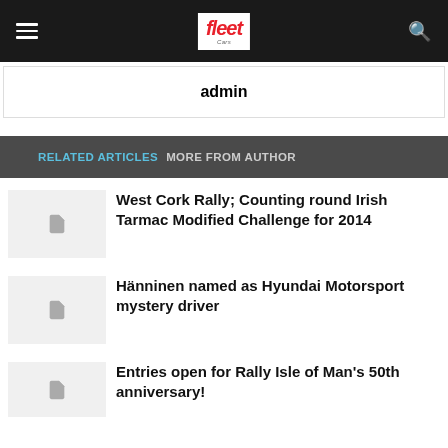fleet Cars - admin
admin
RELATED ARTICLES   MORE FROM AUTHOR
West Cork Rally; Counting round Irish Tarmac Modified Challenge for 2014
Hänninen named as Hyundai Motorsport mystery driver
Entries open for Rally Isle of Man's 50th anniversary!